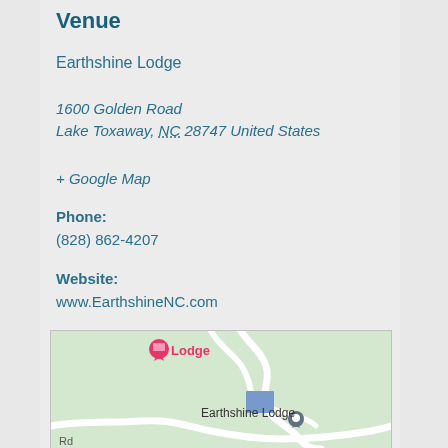Venue
Earthshine Lodge
1600 Golden Road
Lake Toxaway, NC 28747 United States
+ Google Map
Phone:
(828) 862-4207
Website:
www.EarthshineNC.com
[Figure (map): Google Map showing Earthshine Lodge location with a pink location marker labeled 'Lodge' at top and a gray location pin labeled 'Earthshine Lodge' in the lower center, with winding white roads on a light green background.]